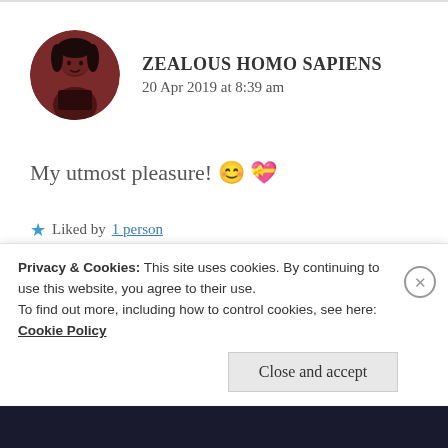ZEALOUS HOMO SAPIENS
20 Apr 2019 at 8:39 am
My utmost pleasure! 😊 💝
★ Liked by 1 person
[Figure (screenshot): Red banner with a dark button labeled 'Don't reading' or similar, partially visible]
Privacy & Cookies: This site uses cookies. By continuing to use this website, you agree to their use.
To find out more, including how to control cookies, see here: Cookie Policy
Close and accept